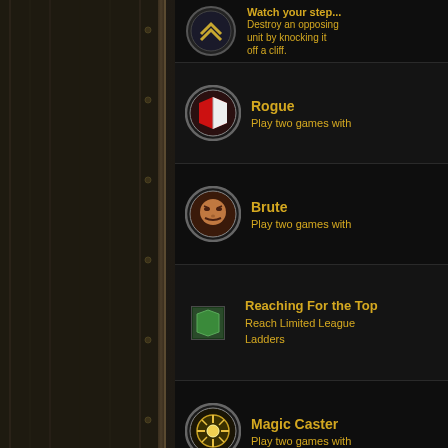[Figure (screenshot): Game achievement/badge list UI with dark background, left decorative sidebar, icon badges with achievement names and descriptions in yellow text]
Watch your step... / Destroy an opposing unit by knocking it off a cliff.
Rogue / Play two games with
Brute / Play two games with
Reaching For the Top / Reach Limited League Ladders
Magic Caster / Play two games with
Why Am I Wet? / Win a Ranked Game
Warrior / Play two games with
Paladin / Play two games with